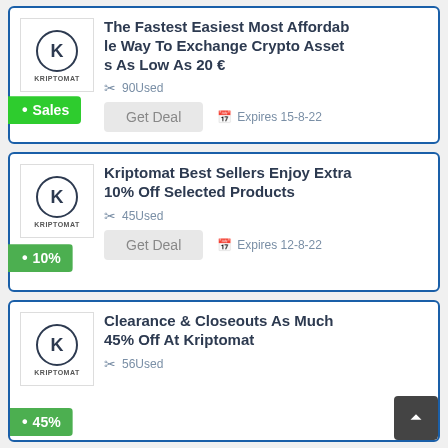The Fastest Easiest Most Affordable Way To Exchange Crypto Assets As Low As 20 €
90Used
Get Deal   Expires 15-8-22
Sales
Kriptomat Best Sellers Enjoy Extra 10% Off Selected Products
45Used
Get Deal   Expires 12-8-22
10%
Clearance & Closeouts As Much 45% Off At Kriptomat
56Used